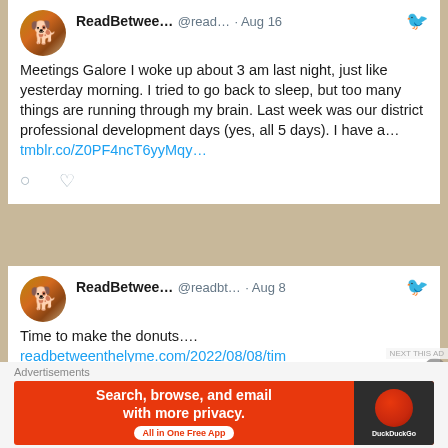[Figure (screenshot): Screenshot of two Twitter/social media posts by ReadBetwee... (@read... / @readbt...). First post dated Aug 16 reads: 'Meetings Galore I woke up about 3 am last night, just like yesterday morning. I tried to go back to sleep, but too many things are running through my brain. Last week was our district professional development days (yes, all 5 days). I have a... tmblr.co/Z0PF4ncT6yyMqy...' with comment and heart icons. Second post dated Aug 8 reads: 'Time to make the donuts.... readbetweenthelyme.com/2022/08/08/tim ...' with a photo of dirt/ground. Below is an advertisement bar with DuckDuckGo ad: 'Search, browse, and email with more privacy. All in One Free App'.]